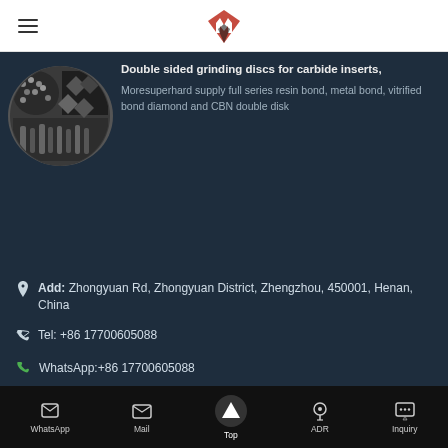Moresuperhard — navigation header with logo
Double sided grinding discs for carbide inserts,
Moresuperhard supply full series resin bond, metal bond, vitrified bond diamond and CBN double disk
Add:  Zhongyuan Rd, Zhongyuan District, Zhengzhou, 450001, Henan, China
Tel: +86 17700605088
WhatsApp:+86 17700605088
E-mail: pcd@moresuperhard.com
WhatsApp  Mail  Top  ADR  Inquiry